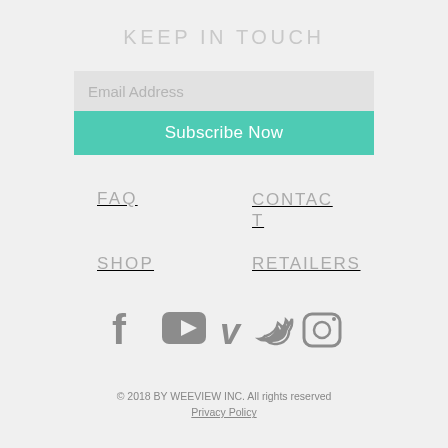KEEP IN TOUCH
Email Address
Subscribe Now
FAQ
CONTACT
SHOP
RETAILERS
[Figure (illustration): Social media icons: Facebook, YouTube, Vimeo, Twitter, Instagram]
© 2018 BY WEEVIEW INC. All rights reserved
Privacy Policy